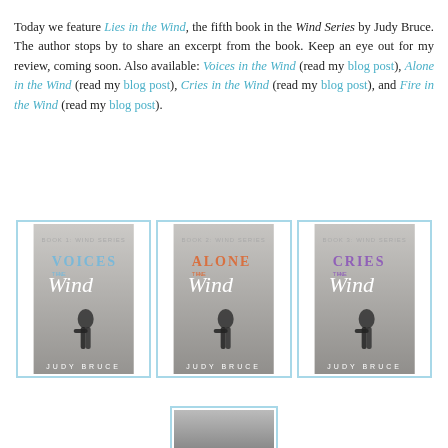Today we feature Lies in the Wind, the fifth book in the Wind Series by Judy Bruce. The author stops by to share an excerpt from the book. Keep an eye out for my review, coming soon. Also available: Voices in the Wind (read my blog post), Alone in the Wind (read my blog post), Cries in the Wind (read my blog post), and Fire in the Wind (read my blog post).
[Figure (photo): Three book covers side by side: 'Voices in the Wind' by Judy Bruce (blue title), 'Alone in the Wind' by Judy Bruce (orange title), and 'Cries in the Wind' by Judy Bruce (purple title). Each shows a silhouette of a woman walking, in grayscale. All have light blue borders.]
[Figure (photo): Partial view of a fourth book cover at the bottom of the page, with light blue border, partially cut off.]